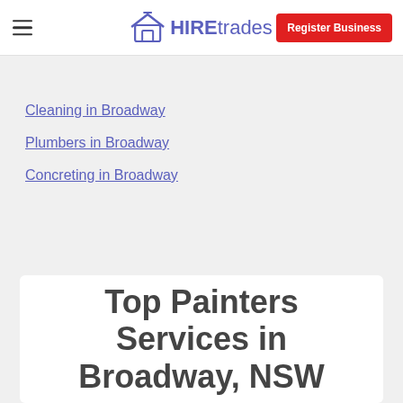HIREtrades | Register Business
Cleaning in Broadway
Plumbers in Broadway
Concreting in Broadway
Top Painters Services in Broadway, NSW